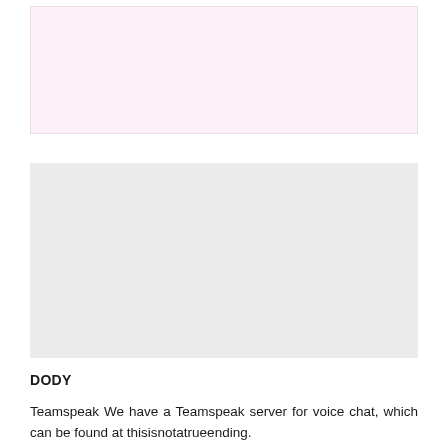[Figure (other): Light pink/lavender colored rectangular placeholder image area]
[Figure (other): Light gray colored rectangular placeholder image area]
DODY
Teamspeak We have a Teamspeak server for voice chat, which can be found at thisisnotatrueending.